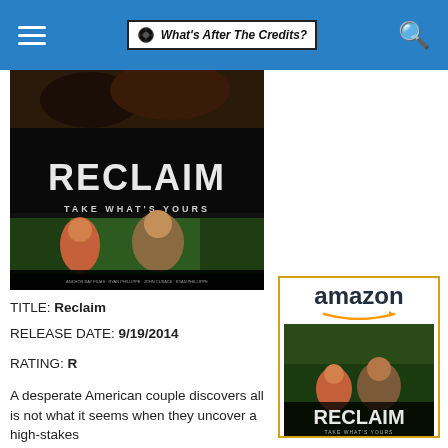What's After The Credits?
[Figure (photo): Movie poster for 'Reclaim' showing two people running in a jungle/forest setting, with the title RECLAIM in large letters and tagline TAKE WHAT'S YOURS]
TITLE: Reclaim
RELEASE DATE: 9/19/2014
RATING: R
A desperate American couple discovers all is not what it seems when they uncover a high-stakes
[Figure (other): Amazon advertisement showing the Reclaim movie available on Amazon, with Amazon logo and movie cover image]